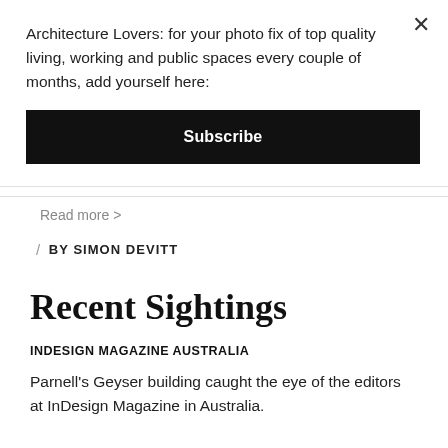Architecture Lovers: for your photo fix of top quality living, working and public spaces every couple of months, add yourself here:
Subscribe
Read more >
/ BY SIMON DEVITT
Recent Sightings
INDESIGN MAGAZINE AUSTRALIA
Parnell's Geyser building caught the eye of the editors at InDesign Magazine in Australia.